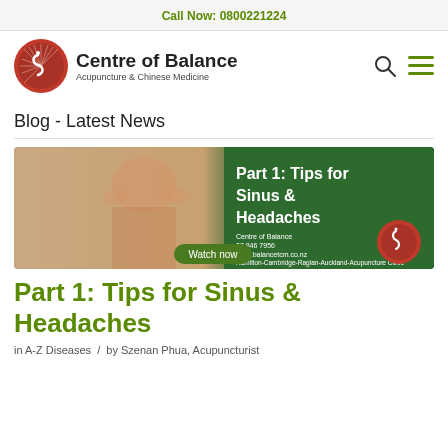Call Now: 0800221224
[Figure (logo): Centre of Balance Acupuncture & Chinese Medicine logo with red circular emblem showing a snake/yin-yang motif, alongside the brand name text]
Blog - Latest News
[Figure (photo): Blog article thumbnail image showing a woman holding her head in pain (headache/sinus) with green overlay text reading 'Part 1: Tips for Sinus & Headaches', Centre of Balance contact details, and a 'Watch now' button]
Part 1: Tips for Sinus & Headaches
in A-Z Diseases / by Szenan Phua, Acupuncturist